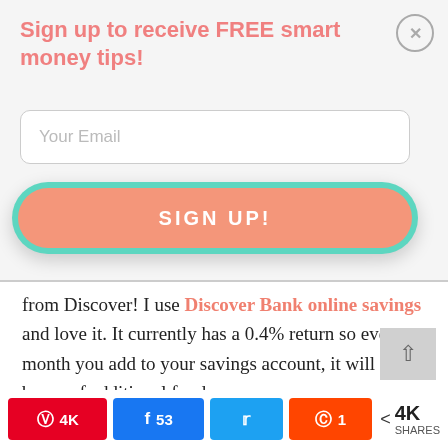Sign up to receive FREE smart money tips!
[Figure (screenshot): Email signup form with 'Your Email' input field and teal-bordered salmon 'SIGN UP!' button]
from Discover! I use Discover Bank online savings and love it. It currently has a 0.4% return so every month you add to your savings account, it will add a bump of additional funds.
[Figure (infographic): Social share bar with Pinterest 4K, Facebook 53, Twitter, Reddit 1 buttons and 4K SHARES total]